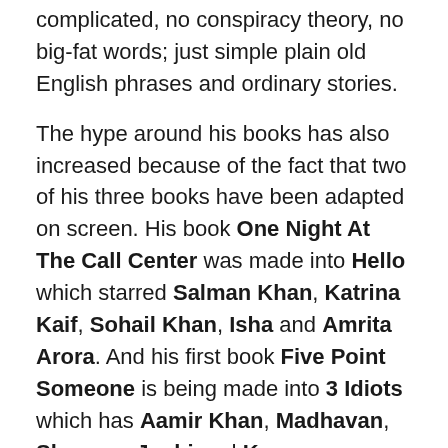complicated, no conspiracy theory, no big-fat words; just simple plain old English phrases and ordinary stories.
The hype around his books has also increased because of the fact that two of his three books have been adapted on screen. His book One Night At The Call Center was made into Hello which starred Salman Khan, Katrina Kaif, Sohail Khan, Isha and Amrita Arora. And his first book Five Point Someone is being made into 3 Idiots which has Aamir Khan, Madhavan, Sharman Joshi and Kareena Kapoor in it.
That’s the only reason that I am interested in his new book titled Two States:The Story Of My Marriage. Here’s what the book is about:
Love marriages around the world are simple: